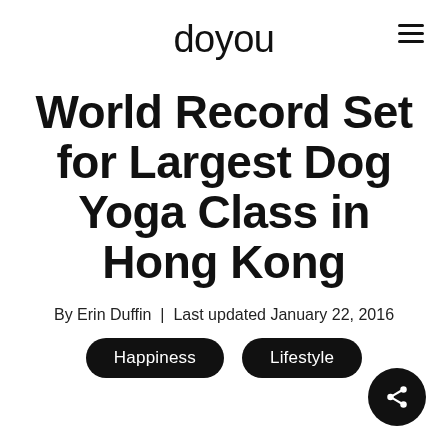doyou
World Record Set for Largest Dog Yoga Class in Hong Kong
By Erin Duffin | Last updated January 22, 2016
Happiness
Lifestyle